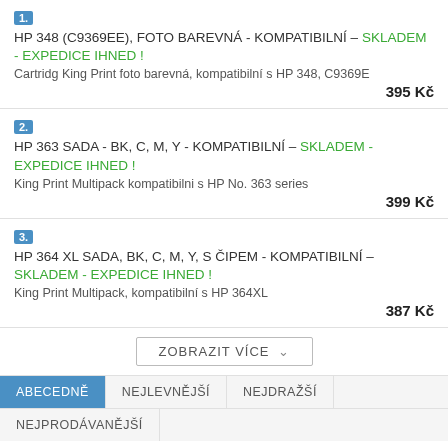1. HP 348 (C9369EE), FOTO BAREVNÁ - KOMPATIBILNÍ – SKLADEM - EXPEDICE IHNED ! Cartridg King Print foto barevná, kompatibilní s HP 348, C9369E 395 Kč
2. HP 363 SADA - BK, C, M, Y - KOMPATIBILNÍ – SKLADEM - EXPEDICE IHNED ! King Print Multipack kompatibilni s HP No. 363 series 399 Kč
3. HP 364 XL SADA, BK, C, M, Y, S ČIPEM - KOMPATIBILNÍ – SKLADEM - EXPEDICE IHNED ! King Print Multipack, kompatibilní s HP 364XL 387 Kč
ZOBRAZIT VÍCE
ABECEDNĚ | NEJLEVNĚJŠÍ | NEJDRAŽŠÍ | NEJPRODÁVANĚJŠÍ